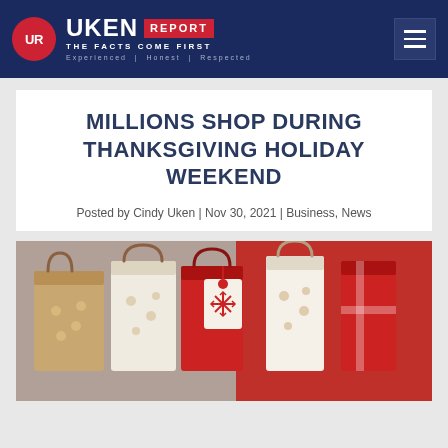UKEN REPORT — THE FACTS COME FIRST — Experienced | Honest | Respected
MILLIONS SHOP DURING THANKSGIVING HOLIDAY WEEKEND
Posted by Cindy Uken | Nov 30, 2021 | Business, News
[Figure (photo): Holiday shopping bags with gift tags and red wrapping, photographed close-up]